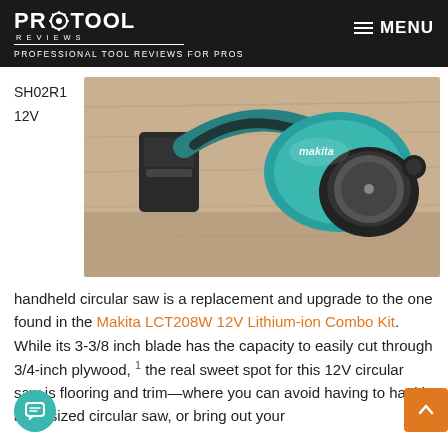PRO TOOL REVIEWS — PROFESSIONAL TOOL REVIEWS FOR PROS
SH02R1 12V
[Figure (photo): Makita SH02R1 12V handheld circular saw in teal color sitting on a wooden surface, photographed from above at an angle showing the blade and body.]
handheld circular saw is a replacement and upgrade to the one found in the Makita LCT208W 12V Lithium-ion Combo Kit. While its 3-3/8 inch blade has the capacity to easily cut through 3/4-inch plywood, the real sweet spot for this 12V circular saw is flooring and trim—where you can avoid having to haul in a full sized circular saw, or bring out your